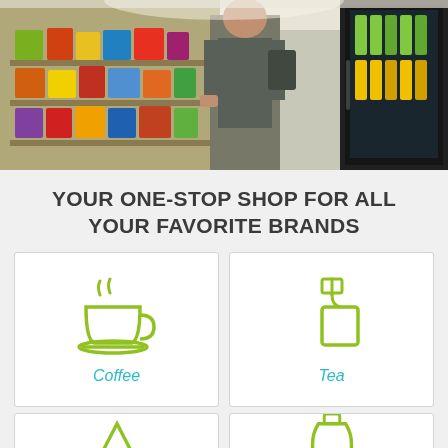[Figure (photo): A person browsing shelves in a convenience/grocery store with product displays and a refrigerator]
YOUR ONE-STOP SHOP FOR ALL YOUR FAVORITE BRANDS
[Figure (illustration): Coffee cup icon in lime green line style, with label 'Coffee']
[Figure (illustration): Tea bag icon in lime green line style, with label 'Tea']
[Figure (illustration): Partial icon visible at bottom left (appears to be a triangle/mountain shape in lime green)]
[Figure (illustration): Partial icon visible at bottom right (appears to be a bottle in lime green)]